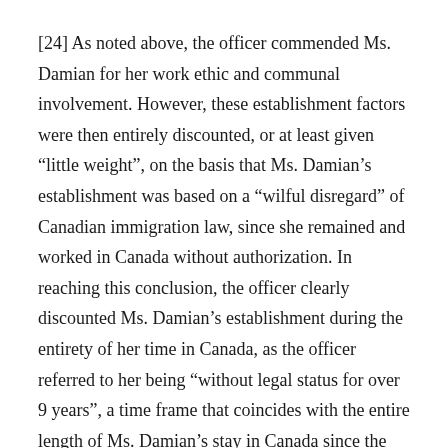[24] As noted above, the officer commended Ms. Damian for her work ethic and communal involvement. However, these establishment factors were then entirely discounted, or at least given “little weight”, on the basis that Ms. Damian’s establishment was based on a “wilful disregard” of Canadian immigration law, since she remained and worked in Canada without authorization. In reaching this conclusion, the officer clearly discounted Ms. Damian’s establishment during the entirety of her time in Canada, as the officer referred to her being “without legal status for over 9 years”, a time frame that coincides with the entire length of Ms. Damian’s stay in Canada since the age of ten.
[25] There is no reasonable basis to conclude that a child who was